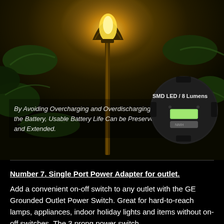[Figure (photo): Solar garden lamp post light glowing golden yellow surrounded by green leaves at night, with a circular SMD LED sensor module overlay showing '8 Lumens' label]
By Avoiding Overcharging and Overdischarging the Battery, Usable Battery Life Can be Preserved and Extended.
Number 7. Single Port Power Adapter for outlet.
Add a convenient on-off switch to any outlet with the GE Grounded Outlet Power Switch. Great for hard-to-reach lamps, appliances, indoor holiday lights and items without on-off switches. The 3 prong power switch